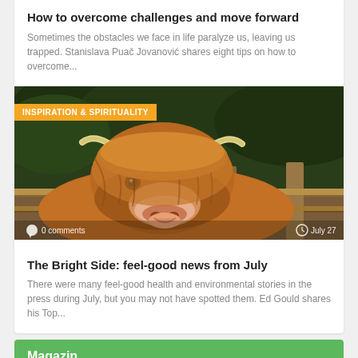How to overcome challenges and move forward
Sometimes the obstacles we face in life paralyze us, leaving us trapped. Stanislava Puač Jovanović shares eight tips on how to overcome...
[Figure (photo): Photo of a Highland cow with orange/brown shaggy fur, horns, looking at camera, in a farm setting. Category badge: INSPIRATION & SPIRITUALITY. Overlay shows 0 comments and July 27 date.]
The Bright Side: feel-good news from July
There were many feel-good health and environmental stories in the press during July, but you may not have spotted them. Ed Gould shares his Top...
Magazin